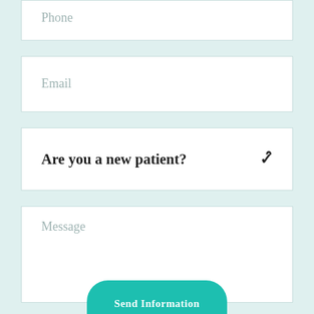Phone
Email
Are you a new patient?
Message
Send Information